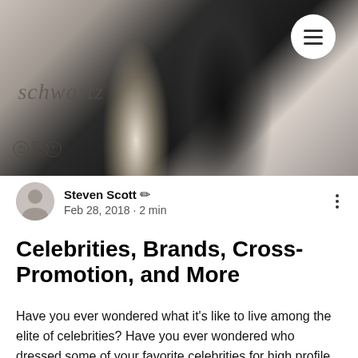[Figure (photo): A cropped photo showing two celebrities posing at an event, one in a white dress and one in a black outfit, with a branded step-and-repeat backdrop showing 'schwartz' text and circular logo marks. A hamburger menu button (white circle with three lines) is visible in the top right corner.]
Steven Scott ✏ Feb 28, 2018 · 2 min
Celebrities, Brands, Cross-Promotion, and More
Have you ever wondered what it's like to live among the elite of celebrities? Have you ever wondered who dressed some of your favorite celebrities for high profile events, or even questioned if they paid for the items in which they wear on red carpets around the world? Here's an in depth look at how some